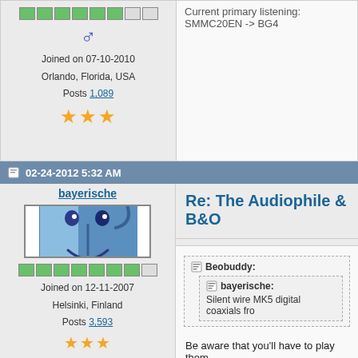Joined on 07-10-2010
Orlando, Florida, USA
Posts 1,089
Current primary listening: SMMC20EN -> BG4
02-24-2012 5:32 AM
bayerische
[Figure (screenshot): Mac OS X Finder icon avatar - blue square with smiley face]
Joined on 12-11-2007
Helsinki, Finland
Posts 3,593
Re: The Audiophile & B&O
Beobuddy:
bayerische:
Silent wire MK5 digital coaxials fro
Be aware that you'll have to play them